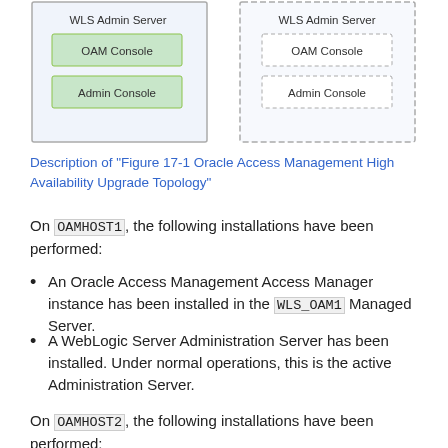[Figure (schematic): Diagram showing two WLS Admin Server boxes side by side. Left box (solid border) contains OAM Console and Admin Console (both with green fill). Right box (dashed border) contains OAM Console and Admin Console (both with dashed borders, no fill).]
Description of "Figure 17-1 Oracle Access Management High Availability Upgrade Topology"
On OAMHOST1, the following installations have been performed:
An Oracle Access Management Access Manager instance has been installed in the WLS_OAM1 Managed Server.
A WebLogic Server Administration Server has been installed. Under normal operations, this is the active Administration Server.
On OAMHOST2, the following installations have been performed: